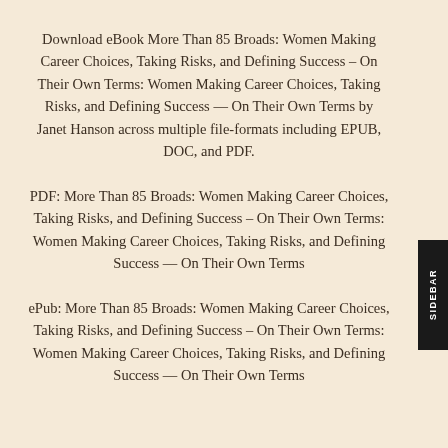Download eBook More Than 85 Broads: Women Making Career Choices, Taking Risks, and Defining Success – On Their Own Terms: Women Making Career Choices, Taking Risks, and Defining Success — On Their Own Terms by Janet Hanson across multiple file-formats including EPUB, DOC, and PDF.
PDF: More Than 85 Broads: Women Making Career Choices, Taking Risks, and Defining Success – On Their Own Terms: Women Making Career Choices, Taking Risks, and Defining Success — On Their Own Terms
ePub: More Than 85 Broads: Women Making Career Choices, Taking Risks, and Defining Success – On Their Own Terms: Women Making Career Choices, Taking Risks, and Defining Success — On Their Own Terms